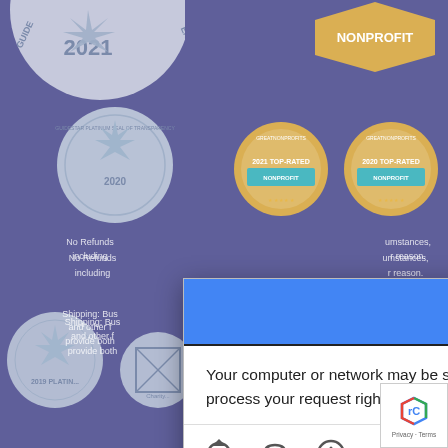[Figure (screenshot): Background page with purple/blue background showing various nonprofit certification badges including Guidestar 2021, Platinum Seal of Transparency 2020, Nonprofit badge, GreatNonprofits Top-Rated badges for 2018, 2019, 2020, 2021, and Seal of Transparency 2019 Platinum. Partially visible text about No Refunds and Shipping policies.]
[Figure (screenshot): Modal dialog overlay with blue header reading 'Try again later', body text 'Your computer or network may be sending automated queries. To protect our users, we can't process your request right now. For more details visit our help page.' with icons for refresh, headphones, info and a VERIFY button. reCAPTCHA badge visible bottom right.]